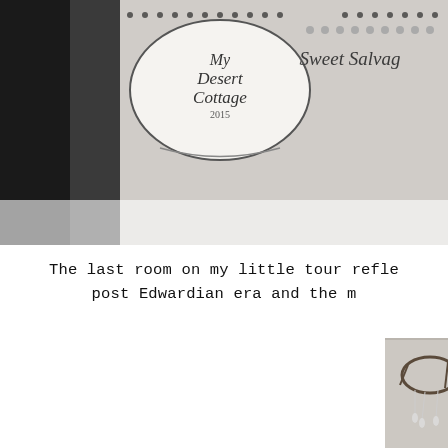[Figure (photo): Top portion showing signage for 'My Desert Cottage 2015' and 'Sweet Salvage' event, with decorative black-and-white style imagery.]
The last room on my little tour refle post Edwardian era and the m
[Figure (photo): Close-up photo of decorative chandelier with crystal drops and twig wreath, alongside burlap/lace fabric in a vintage cottage style setting.]